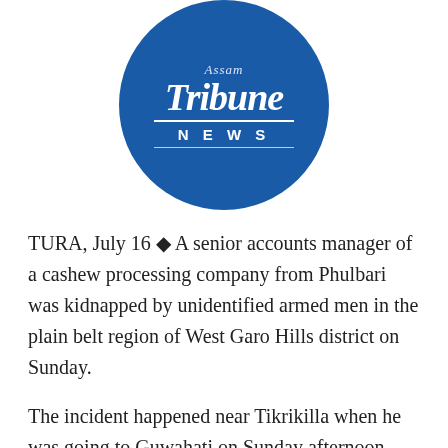[Figure (logo): Assam Tribune NEWS circular logo — blue circle with 'Tribune' in blackletter/old English style and 'NEWS' in capital letters below a horizontal divider]
TURA, July 16 ◆ A senior accounts manager of a cashew processing company from Phulbari was kidnapped by unidentified armed men in the plain belt region of West Garo Hills district on Sunday.
The incident happened near Tikrikilla when he was going to Guwahati on Sunday afternoon.